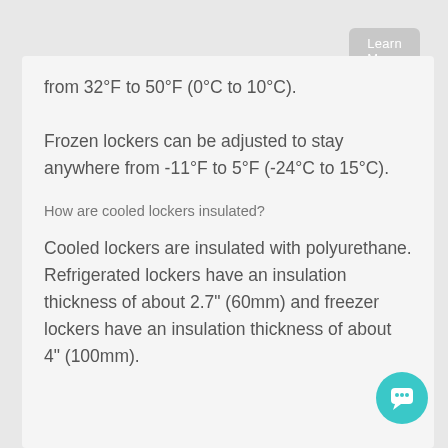Learn More
from 32°F to 50°F (0°C to 10°C). Frozen lockers can be adjusted to stay anywhere from -11°F to 5°F (-24°C to 15°C).
How are cooled lockers insulated?
Cooled lockers are insulated with polyurethane. Refrigerated lockers have an insulation thickness of about 2.7" (60mm) and freezer lockers have an insulation thickness of about 4" (100mm).
[Figure (illustration): Teal circular chat bubble icon in bottom right corner]